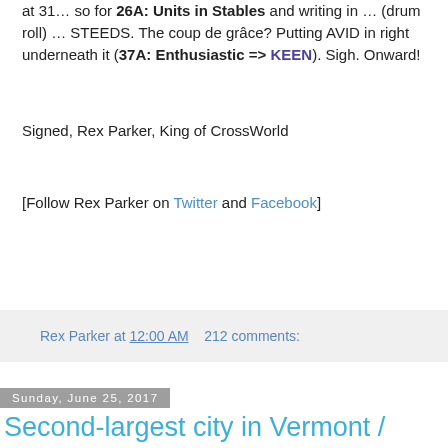at 31... so for 26A: Units in Stables and writing in ... (drum roll) ... STEEDS. The coup de grâce? Putting AVID in right underneath it (37A: Enthusiastic => KEEN). Sigh. Onward!
Signed, Rex Parker, King of CrossWorld
[Follow Rex Parker on Twitter and Facebook]
Rex Parker at 12:00 AM   212 comments:
Sunday, June 25, 2017
Second-largest city in Vermont / SUN 6-25-17 / Petroleum byproduct used to make synthetic rubber / Island south of Cyclades / Brenda's twin on Beverly Hills 90210 / Where Sanyo Panasonic are headquartered / Tech company founder Michael